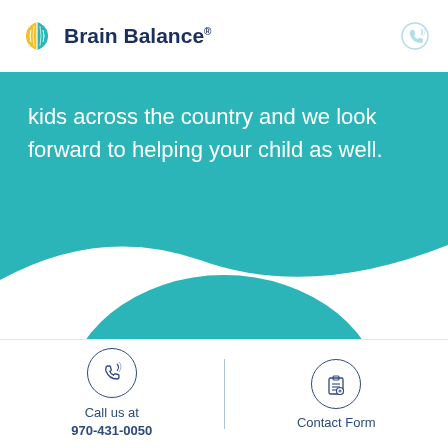[Figure (logo): Brain Balance logo with colorful brain icon and text 'Brain Balance' with registered trademark symbol]
kids across the country and we look forward to helping your child as well.
[Figure (illustration): Teal wave and semicircle decorative background shapes]
Call us at
970-431-0050
Contact Form